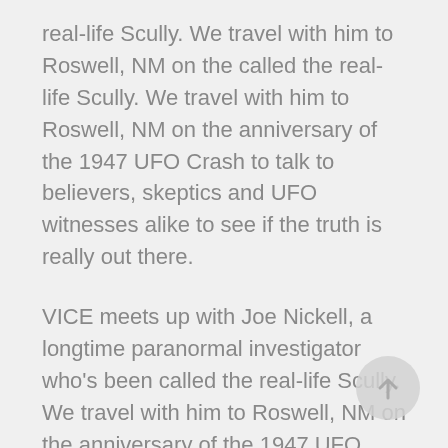real-life Scully. We travel with him to Roswell, NM on the called the real-life Scully. We travel with him to Roswell, NM on the anniversary of the 1947 UFO Crash to talk to believers, skeptics and UFO witnesses alike to see if the truth is really out there.
VICE meets up with Joe Nickell, a longtime paranormal investigator who's been called the real-life Scully. We travel with him to Roswell, NM on the anniversary of the 1947 UFO Crash to talk to believers, skeptics and UFO witnesses alike to see if the truth is really out there. VICE meets up with Joe Nickell, a longtime paranormal investigator who's been called the real-life Scully. We travel with him to Roswell, NM on the called the real-life